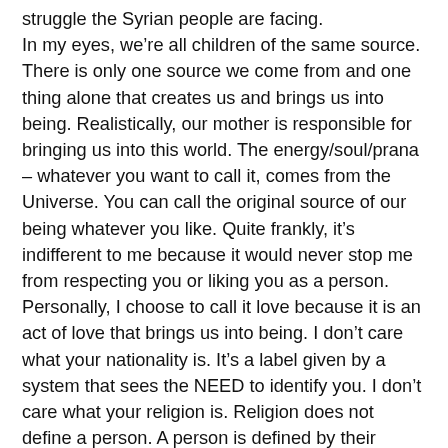struggle the Syrian people are facing. In my eyes, we're all children of the same source. There is only one source we come from and one thing alone that creates us and brings us into being. Realistically, our mother is responsible for bringing us into this world. The energy/soul/prana – whatever you want to call it, comes from the Universe. You can call the original source of our being whatever you like. Quite frankly, it's indifferent to me because it would never stop me from respecting you or liking you as a person. Personally, I choose to call it love because it is an act of love that brings us into being. I don't care what your nationality is. It's a label given by a system that sees the NEED to identify you. I don't care what your religion is. Religion does not define a person. A person is defined by their deeds in the world. You're either a good person or you're not. I choose to believe that people are fundamentally good. Of course, there are crackpots out there, that we label as terrorists, but they certainly are not acting in accordance with any religion. The KKK slaughtered people because of the colour of their skin. Do they represent Christianism? I don't think so. They certainly